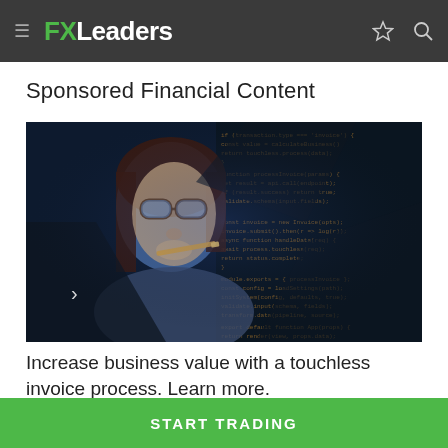FXLeaders
Sponsored Financial Content
[Figure (photo): Woman with glasses looking at a screen with code/data, holding a pencil to her chin, with a dark background and blue lighting and geometric overlay shapes]
Increase business value with a touchless invoice process. Learn more.
START TRADING